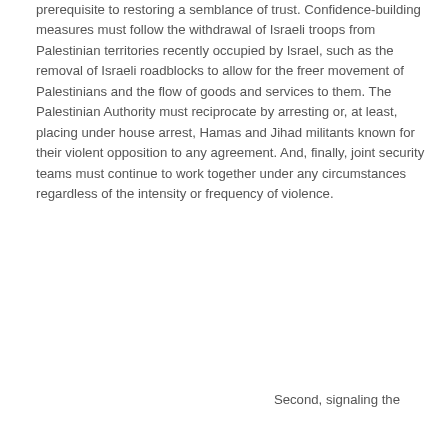prerequisite to restoring a semblance of trust. Confidence-building measures must follow the withdrawal of Israeli troops from Palestinian territories recently occupied by Israel, such as the removal of Israeli roadblocks to allow for the freer movement of Palestinians and the flow of goods and services to them. The Palestinian Authority must reciprocate by arresting or, at least, placing under house arrest, Hamas and Jihad militants known for their violent opposition to any agreement. And, finally, joint security teams must continue to work together under any circumstances regardless of the intensity or frequency of violence.
Second, signaling the